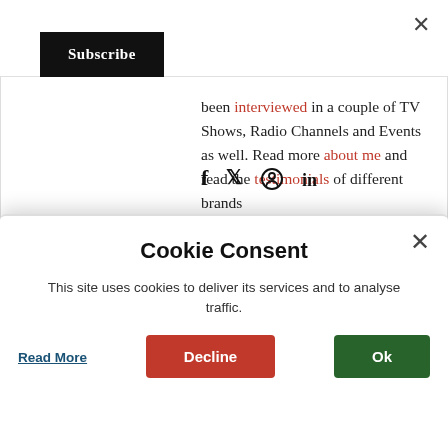[Figure (screenshot): Subscribe button (black) in top-left area]
been interviewed in a couple of TV Shows, Radio Channels and Events as well. Read more about me and read the testimonials of different brands
[Figure (infographic): Social media icons: f (Facebook), Twitter bird, Pinterest, LinkedIn]
Cookie Consent
This site uses cookies to deliver its services and to analyse traffic.
Read More | Decline | Ok